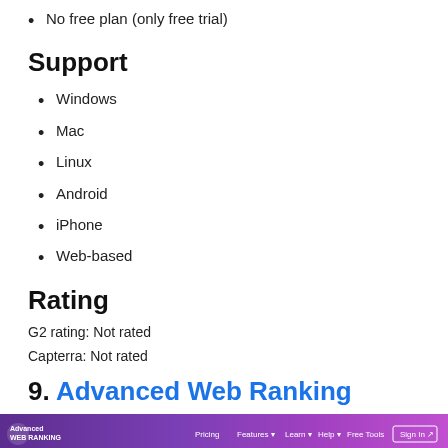No free plan (only free trial)
Support
Windows
Mac
Linux
Android
iPhone
Web-based
Rating
G2 rating: Not rated
Capterra: Not rated
9. Advanced Web Ranking
[Figure (screenshot): Advanced Web Ranking website header/navigation bar with purple gradient background, logo, and navigation links including Pricing, Features, Learn, Help, Free Tools, and Sign In button]